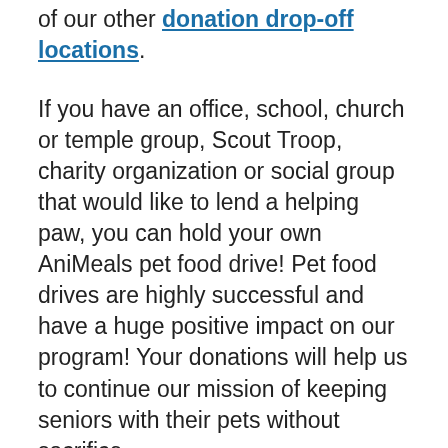of our other donation drop-off locations.
If you have an office, school, church or temple group, Scout Troop, charity organization or social group that would like to lend a helping paw, you can hold your own AniMeals pet food drive! Pet food drives are highly successful and have a huge positive impact on our program! Your donations will help us to continue our mission of keeping seniors with their pets without sacrifice.
In addition to dog and cat food, monetary donations are always greatly appreciated